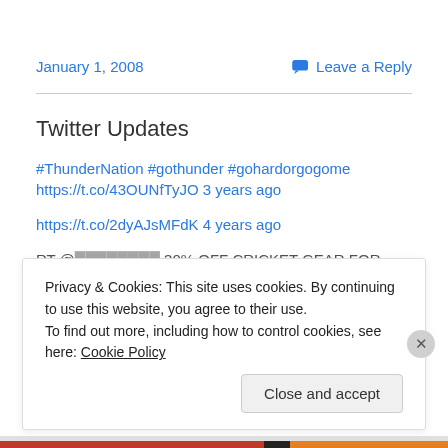January 1, 2008
💬 Leave a Reply
Twitter Updates
#ThunderNation #gothunder #gohardorgogome
https://t.co/43OUNfTyJO 3 years ago
https://t.co/2dyAJsMFdK 4 years ago
RT @...  get 30% OFF CRICKET GEAR FOR FANS
Privacy & Cookies: This site uses cookies. By continuing to use this website, you agree to their use.
To find out more, including how to control cookies, see here: Cookie Policy
Close and accept